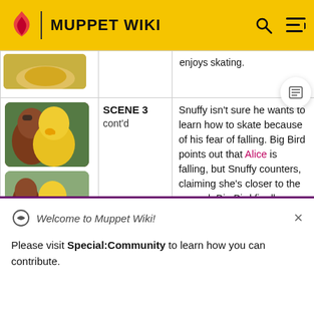MUPPET WIKI
| Image | Scene | Description |
| --- | --- | --- |
| [image] |  | enjoys skating. |
| [image1][image2] | SCENE 3
cont'd | Snuffy isn't sure he wants to learn how to skate because of his fear of falling. Big Bird points out that Alice is falling, but Snuffy counters, claiming she's closer to the ground. Big Bird finally coaxes him into learning and is about |
Welcome to Muppet Wiki!
Please visit Special:Community to learn how you can contribute.